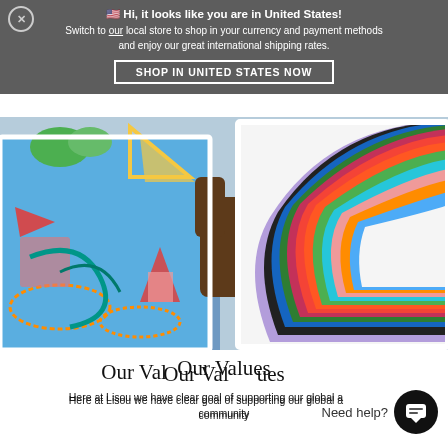🇺🇸 Hi, it looks like you are in United States! Switch to our local store to shop in your currency and payment methods and enjoy our great international shipping rates.
SHOP IN UNITED STATES NOW
[Figure (photo): Person holding up two colorful painted textile/fabric artworks with abstract patterns — one with geometric shapes on a blue background, one with rainbow arc stripes on a white background, against a white backdrop.]
Our Values
Here at Lisou we have clear goal of supporting our global and local community
Need help?